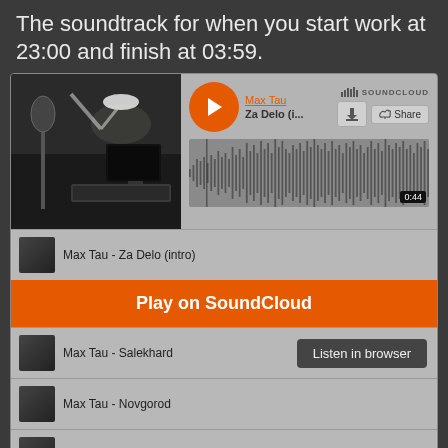The soundtrack for when you start work at 23:00 and finish at 03:59.
[Figure (screenshot): SoundCloud embedded music player showing Max Tau - Za Delo (intro) with waveform visualization, play button, download and share buttons, and a playlist below including tracks: Max Tau - Za Delo (intro), Max Tau - Salekhard, Max Tau - Novgorod, Max Tau - Buddha Fist, Max Tau - Focus, Max Tau - Deadline. Overlaid with 'Play on SoundCloud' button and 'Listen in browser' tooltip.]